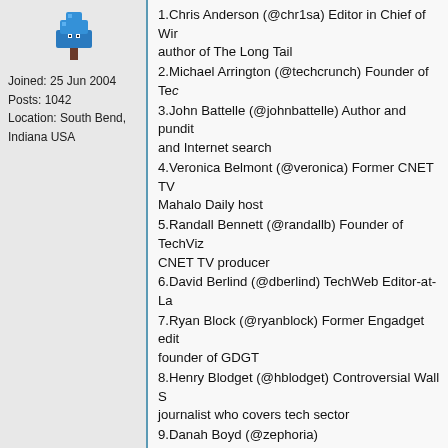[Figure (illustration): Pixel art avatar of a blue tree/mushroom character]
Joined: 25 Jun 2004
Posts: 1042
Location: South Bend, Indiana USA
1.Chris Anderson (@chr1sa) Editor in Chief of Wired, author of The Long Tail
2.Michael Arrington (@techcrunch) Founder of TechCrunch
3.John Battelle (@johnbattelle) Author and pundit on advertising and Internet search
4.Veronica Belmont (@veronica) Former CNET TV, Mahalo Daily host
5.Randall Bennett (@randallb) Founder of TechVibes, CNET TV producer
6.David Berlind (@dberlind) TechWeb Editor-at-Large
7.Ryan Block (@ryanblock) Former Engadget editor, founder of GDGT
8.Henry Blodget (@hblodget) Controversial Wall Street journalist who covers tech sector
9.Danah Boyd (@zephoria) Academic/researcher on social media
10.Ed Bott (@edbott) Microsoft Windows expert, book author
11.Jason Calacanis (@jasoncalacanis) CEO of Mahalo, founder of Weblogs Inc.
12.Pete Cashmore (@mashable) CEO of Mashable
13.David Davis (@davidmdavis) Author, blogger, expert on Cisco and virtualization technologies
14.Chris Dawson (@mrdatahs) ZDNet blogger on education